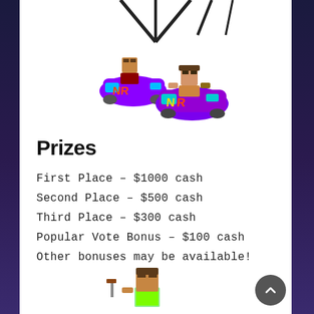[Figure (illustration): Two Minecraft-style characters riding colorful karts with purple and cyan colors, viewed from above at an angle]
Prizes
First Place – $1000 cash
Second Place – $500 cash
Third Place – $300 cash
Popular Vote Bonus – $100 cash
Other bonuses may be available!
[Figure (illustration): Minecraft-style character partially visible at the bottom of the page]